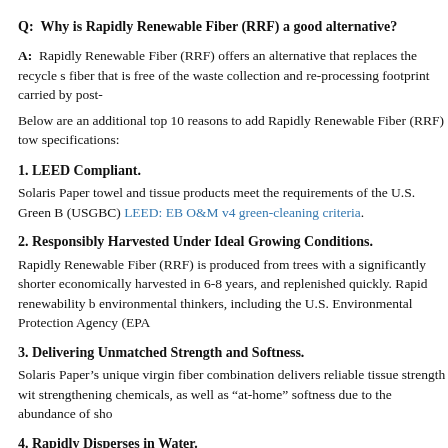Q:  Why is Rapidly Renewable Fiber (RRF) a good alternative?
A:  Rapidly Renewable Fiber (RRF) offers an alternative that replaces the recycle s fiber that is free of the waste collection and re-processing footprint carried by post-
Below are an additional top 10 reasons to add Rapidly Renewable Fiber (RRF) tow specifications:
1. LEED Compliant.
Solaris Paper towel and tissue products meet the requirements of the U.S. Green B (USGBC) LEED: EB O&M v4 green-cleaning criteria.
2. Responsibly Harvested Under Ideal Growing Conditions.
Rapidly Renewable Fiber (RRF) is produced from trees with a significantly shorter economically harvested in 6-8 years, and replenished quickly. Rapid renewability b environmental thinkers, including the U.S. Environmental Protection Agency (EPA
3. Delivering Unmatched Strength and Softness.
Solaris Paper’s unique virgin fiber combination delivers reliable tissue strength wit strengthening chemicals, as well as "at-home" softness due to the abundance of sho
4. Rapidly Disperses in Water.
RRF tissue paper products disperse rapidly in water due to their highly absorptive p safe for septic and plumbing systems.
5. Greater Wet Strength.
RRF towel products provide greater wet strength than the fibers in recycled conten of in tie fiber th c th b bl b i t